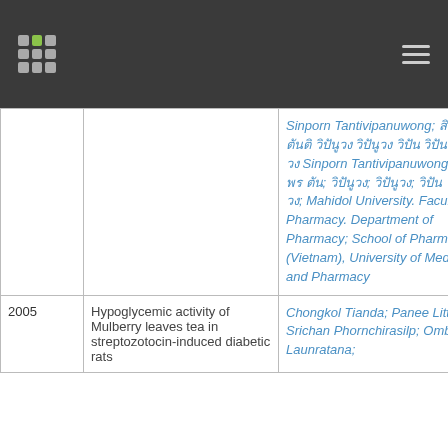| Year | Title | Authors/Affiliations |
| --- | --- | --- |
|  |  | Sinporn Tantivipanuwong; [Thai text]; [Thai text]; [Thai text]; [Thai text]; Mahidol University. Faculty of Pharmacy. Department of Pharmacy; School of Pharmacy (Vietnam), University of Medicine and Pharmacy |
| 2005 | Hypoglycemic activity of Mulberry leaves tea in streptozotocin-induced diabetic rats | Chongkol Tianda; Panee Litthilert; Srichan Phornchirasilp; Omboon Launratana; |